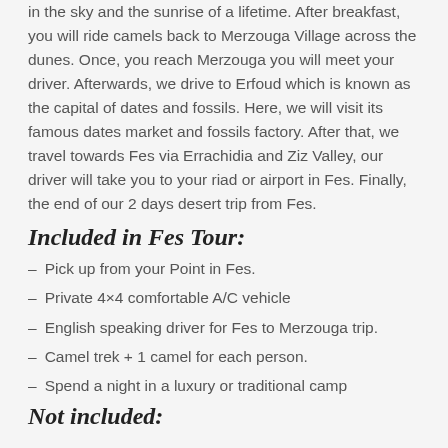in the sky and the sunrise of a lifetime. After breakfast, you will ride camels back to Merzouga Village across the dunes. Once, you reach Merzouga you will meet your driver. Afterwards, we drive to Erfoud which is known as the capital of dates and fossils. Here, we will visit its famous dates market and fossils factory. After that, we travel towards Fes via Errachidia and Ziz Valley, our driver will take you to your riad or airport in Fes. Finally, the end of our 2 days desert trip from Fes.
Included in Fes Tour:
Pick up from your Point in Fes.
Private 4×4 comfortable A/C vehicle
English speaking driver for Fes to Merzouga trip.
Camel trek + 1 camel for each person.
Spend a night in a luxury or traditional camp
Not included: